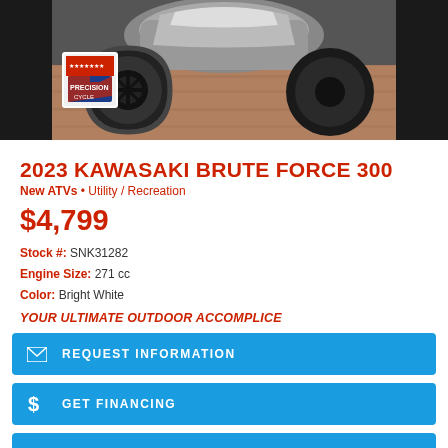[Figure (photo): 2023 Kawasaki Brute Force 300 ATV close-up photo showing front wheel/tire on wooden floor surface, with dealer logo badge overlay]
2023 KAWASAKI BRUTE FORCE 300
New ATVs • Utility / Recreation
$4,799
Stock #: SNK31282
Engine Size: 271 cc
Color: Bright White
YOUR ULTIMATE OUTDOOR ACCOMPLICE
REQUEST INFORMATION
GET FINANCING